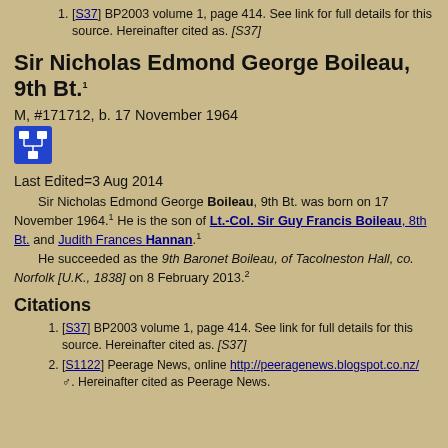[S37] BP2003 volume 1, page 414. See link for full details for this source. Hereinafter cited as. [S37]
Sir Nicholas Edmond George Boileau, 9th Bt.1
M, #171712, b. 17 November 1964
[Figure (other): Blue icon with a family tree / pedigree chart symbol]
Last Edited=3 Aug 2014
Sir Nicholas Edmond George Boileau, 9th Bt. was born on 17 November 1964.1 He is the son of Lt.-Col. Sir Guy Francis Boileau, 8th Bt. and Judith Frances Hannan.1
He succeeded as the 9th Baronet Boileau, of Tacolneston Hall, co. Norfolk [U.K., 1838] on 8 February 2013.2
Citations
[S37] BP2003 volume 1, page 414. See link for full details for this source. Hereinafter cited as. [S37]
[S1122] Peerage News, online http://peeragenews.blogspot.co.nz/ . Hereinafter cited as Peerage News.